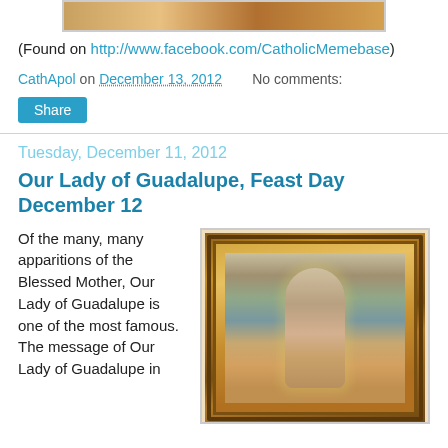[Figure (photo): Partial image strip at top of page, appears to be a cropped photo]
(Found on http://www.facebook.com/CatholicMemebase)
CathApol on December 13, 2012    No comments:
Share
Tuesday, December 11, 2012
Our Lady of Guadalupe, Feast Day December 12
Of the many, many apparitions of the Blessed Mother, Our Lady of Guadalupe is one of the most famous.  The message of Our Lady of Guadalupe in
[Figure (photo): Framed image of Our Lady of Guadalupe painting in ornate gold and dark frame]